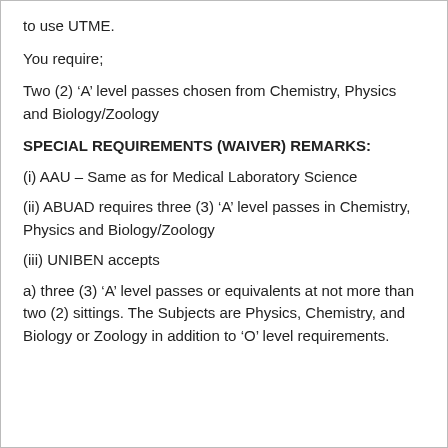to use UTME.
You require;
Two (2) ‘A’ level passes chosen from Chemistry, Physics and Biology/Zoology
SPECIAL REQUIREMENTS (WAIVER) REMARKS:
(i) AAU – Same as for Medical Laboratory Science
(ii) ABUAD requires three (3) ‘A’ level passes in Chemistry, Physics and Biology/Zoology
(iii) UNIBEN accepts
a) three (3) ‘A’ level passes or equivalents at not more than two (2) sittings. The Subjects are Physics, Chemistry, and Biology or Zoology in addition to ‘O’ level requirements.